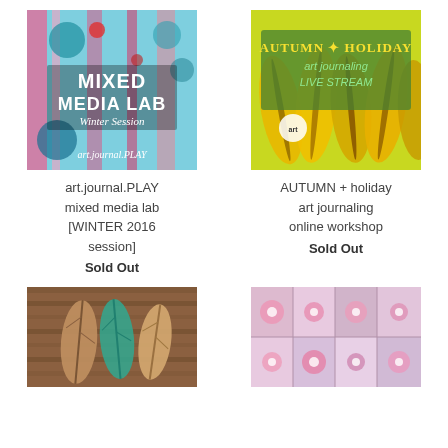[Figure (photo): Colorful mixed media art journal cover with text MIXED MEDIA LAB Winter Session art.journal.PLAY]
art.journal.PLAY mixed media lab [WINTER 2016 session]
Sold Out
[Figure (photo): Yellow and green autumn leaves illustration with text AUTUMN + HOLIDAY art journaling LIVE STREAM]
AUTUMN + holiday art journaling online workshop
Sold Out
[Figure (photo): Leaf art pieces on wooden background with teal and brown leaf cutouts]
[Figure (photo): Floral pattern artwork with pink flowers on quilted/patched background]